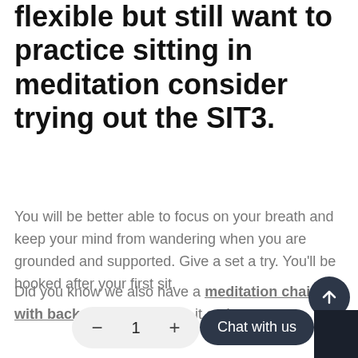flexible but still want to practice sitting in meditation consider trying out the SIT3.
You will be better able to focus on your breath and keep your mind from wandering when you are grounded and supported. Give a set a try. You'll be hooked after your first sit.
Did you know we also have a meditation chair with back support? Check it out!